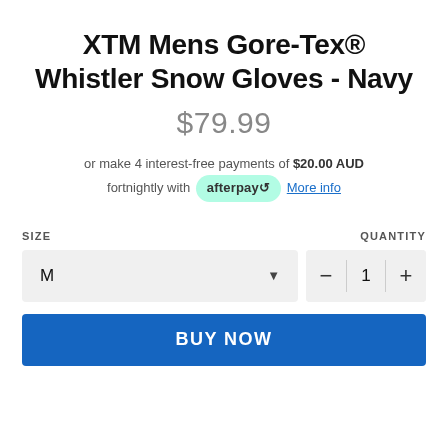XTM Mens Gore-Tex® Whistler Snow Gloves - Navy
$79.99
or make 4 interest-free payments of $20.00 AUD fortnightly with afterpay  More info
SIZE   QUANTITY
M  [dropdown]  — 1 +
BUY NOW